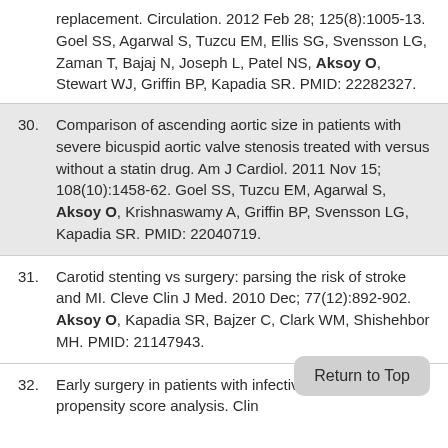replacement. Circulation. 2012 Feb 28; 125(8):1005-13. Goel SS, Agarwal S, Tuzcu EM, Ellis SG, Svensson LG, Zaman T, Bajaj N, Joseph L, Patel NS, Aksoy O, Stewart WJ, Griffin BP, Kapadia SR. PMID: 22282327.
30. Comparison of ascending aortic size in patients with severe bicuspid aortic valve stenosis treated with versus without a statin drug. Am J Cardiol. 2011 Nov 15; 108(10):1458-62. Goel SS, Tuzcu EM, Agarwal S, Aksoy O, Krishnaswamy A, Griffin BP, Svensson LG, Kapadia SR. PMID: 22040719.
31. Carotid stenting vs surgery: parsing the risk of stroke and MI. Cleve Clin J Med. 2010 Dec; 77(12):892-902. Aksoy O, Kapadia SR, Bajzer C, Clark WM, Shishehbor MH. PMID: 21147943.
32. Early surgery in patients with infective endocarditis: a propensity score analysis. Clin